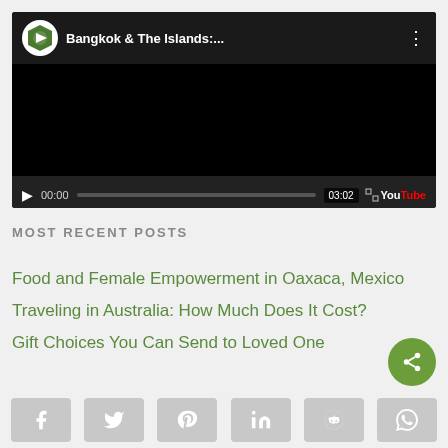[Figure (screenshot): YouTube embedded video player showing 'Bangkok & The Islands:...' with play button, time 00:00, duration 03:02, and YouTube branding]
MOST RECENT POSTS
Food and Female Empowerment in Oaxaca, Mexico
Traveling in Australia: How Much Does It Cost?
Gift Choices You Can Send to Loved One
[Figure (infographic): Social share buttons bar: Facebook, Twitter, Pinterest, LinkedIn, Reddit, WhatsApp]